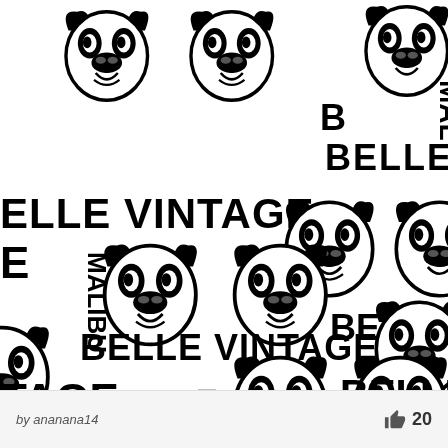[Figure (illustration): A repeating pattern of French Bulldog faces and the text 'BELLE VINTAGE MALIBU' arranged in a tiled, alternating layout on white background, all in black and white.]
by ananana14
20